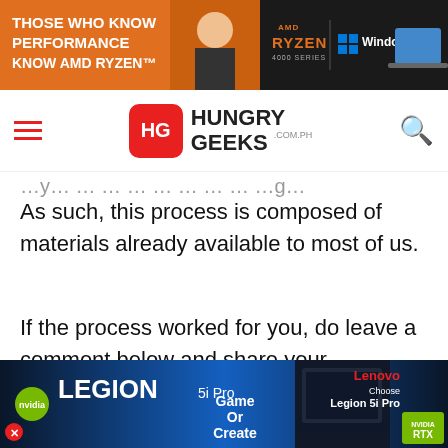[Figure (screenshot): AMD Ryzen 4000 Series and Windows 11 advertisement banner with woman at laptop]
[Figure (logo): Hungry Geeks website navigation bar with hamburger menu, HG logo, and search icon]
As such, this process is composed of materials already available to most of us.
If the process worked for you, do leave a comment below and share your bank/service (NOT YOUR BANK DETAILS/ACCOUNT) in order to help others too.
[Figure (screenshot): Lenovo Legion 5i Pro advertisement banner with NVIDIA RTX branding]